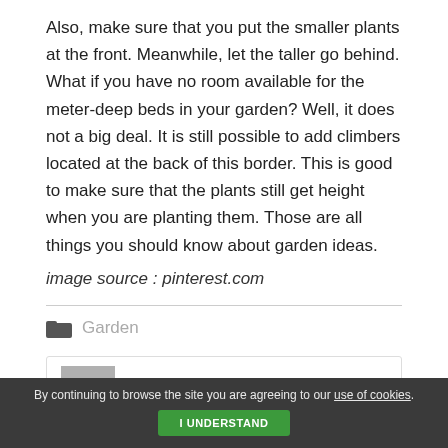Also, make sure that you put the smaller plants at the front. Meanwhile, let the taller go behind. What if you have no room available for the meter-deep beds in your garden? Well, it does not a big deal. It is still possible to add climbers located at the back of this border. This is good to make sure that the plants still get height when you are planting them. Those are all things you should know about garden ideas.
image source : pinterest.com
Garden
SORA WEST
By continuing to browse the site you are agreeing to our use of cookies.
I UNDERSTAND